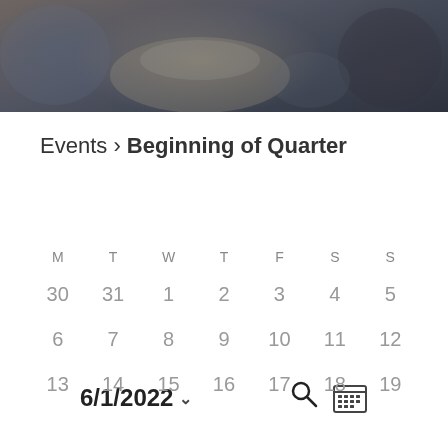[Figure (photo): Photo of students in light blue hoodies/sweatshirts, viewed from above, with dark overlay]
Events > Beginning of Quarter
6/1/2022 ˅
| M | T | W | T | F | S | S |
| --- | --- | --- | --- | --- | --- | --- |
| 30 | 31 | 1 | 2 | 3 | 4 | 5 |
| 6 | 7 | 8 | 9 | 10 | 11 | 12 |
| 13 | 14 | 15 | 16 | 17 | 18 | 19 |